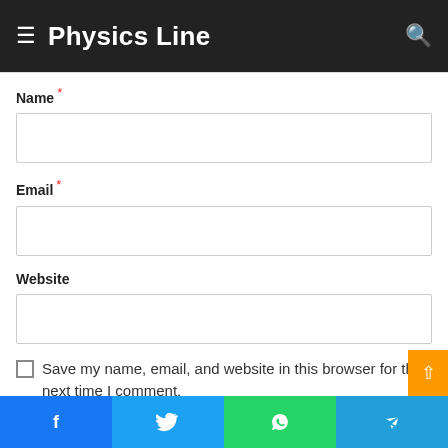Physics Line
Name *
Email *
Website
Save my name, email, and website in this browser for the next time I comment.